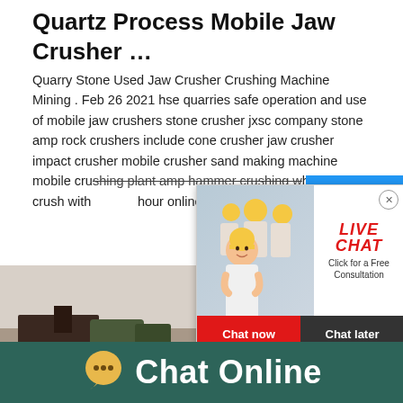Quartz Process Mobile Jaw Crusher …
Quarry Stone Used Jaw Crusher Crushing Machine Mining . Feb 26 2021 hse quarries safe operation and use of mobile jaw crushers stone crusher jxsc company stone amp rock crushers include cone crusher jaw crusher impact crusher mobile crusher sand making machine mobile crushing plant amp hammer crushing which can crush with hour online as pebble
[Figure (screenshot): Live chat popup with woman and workers in hard hats, LIVE CHAT label, Click for a Free Consultation text, Chat now and Chat later buttons]
[Figure (photo): Industrial crusher machinery image in blue banner with 'hour online' and 'Click me to chat>>' button]
[Figure (photo): Bottom strip showing industrial equipment / crusher at a quarry site]
Chat Online